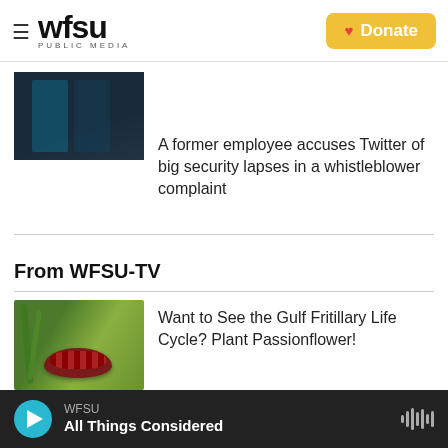WFSU PUBLIC MEDIA — Donate
[Figure (photo): Dark photo of lockers or server racks with blue teal lighting]
A former employee accuses Twitter of big security lapses in a whistleblower complaint
From WFSU-TV
[Figure (photo): Close-up photo of a Gulf Fritillary caterpillar (red/brown spiky caterpillar) on green plant stems]
Want to See the Gulf Fritillary Life Cycle? Plant Passionflower!
[Figure (photo): Photo of children outdoors near grass/water area]
Kids Release Striped Newts, Host a
WFSU — All Things Considered